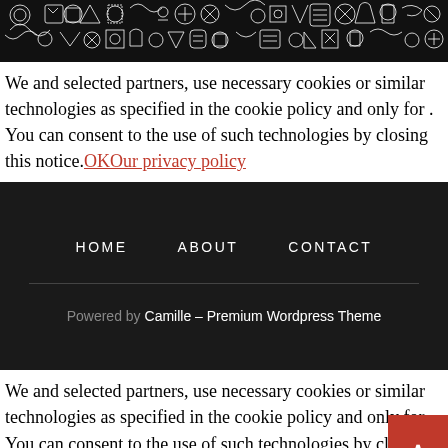[Figure (illustration): Black and white doodle art banner with abstract patterns, animals, stars, geometric shapes]
We and selected partners, use necessary cookies or similar technologies as specified in the cookie policy and only for . You can consent to the use of such technologies by closing this notice.OKOur privacy policy
HOME   ABOUT   CONTACT
Powered by Camille – Premium Wordpress Theme
We and selected partners, use necessary cookies or similar technologies as specified in the cookie policy and only for. You can consent to the use of such technologies by closing notice.OKOur privacy policy